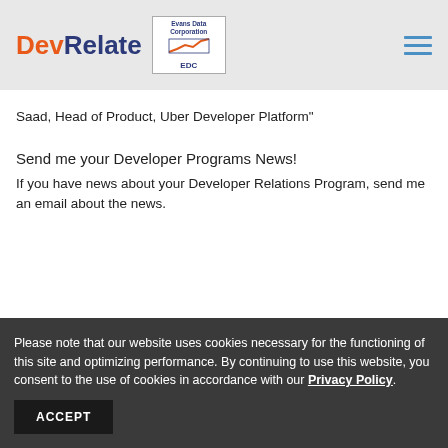DevRelate | Evans Data Corporation EDC
Saad, Head of Product, Uber Developer Platform"
Send me your Developer Programs News!
If you have news about your Developer Relations Program, send me an email about the news.
Please note that our website uses cookies necessary for the functioning of this site and optimizing performance. By continuing to use this website, you consent to the use of cookies in accordance with our Privacy Policy.
ACCEPT